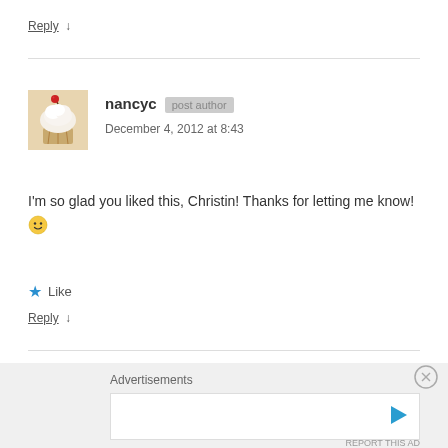Reply ↓
nancyc  [post author]  December 4, 2012 at 8:43
[Figure (photo): Avatar photo of a cupcake with white frosting and a red cherry on top]
I'm so glad you liked this, Christin! Thanks for letting me know! 🙂
★ Like
Reply ↓
Advertisements
[Figure (other): Advertisement placeholder box with a play button icon]